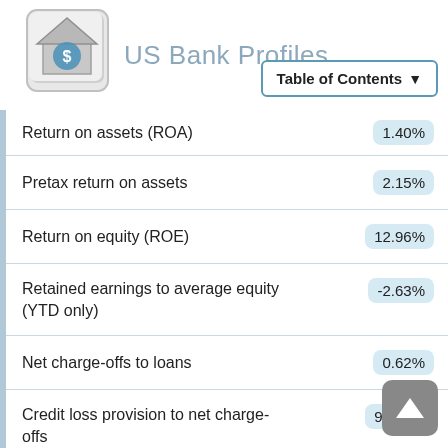US Bank Profiles
| Metric | Value |
| --- | --- |
| Return on assets (ROA) | 1.40% |
| Pretax return on assets | 2.15% |
| Return on equity (ROE) | 12.96% |
| Retained earnings to average equity (YTD only) | -2.63% |
| Net charge-offs to loans | 0.62% |
| Credit loss provision to net charge-offs | 99.59% |
| Efficiency ratio | 7.76% |
| Assets per employee | 63,96… |